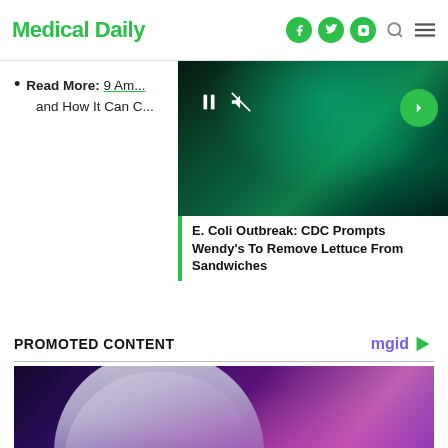Medical Daily
Read More: 9 Am... and How It Can C...
[Figure (screenshot): Video player overlay showing green smoky background with E. Coli Outbreak video. Controls include pause, mute, and arrow buttons. Title reads: E. Coli Outbreak: CDC Prompts Wendy's To Remove Lettuce From Sandwiches]
PROMOTED CONTENT
[Figure (photo): Promoted content image showing a woman with silver/platinum hair looking at something in a purple-blue neon lit setting]